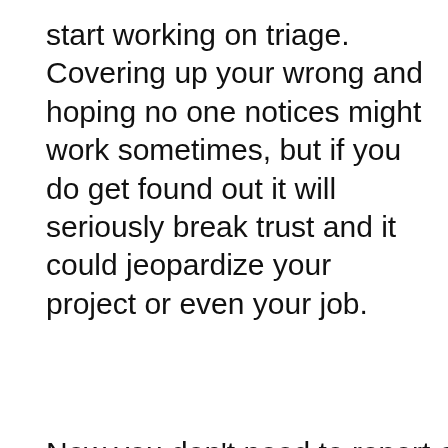start working on triage. Covering up your wrong and hoping no one notices might work sometimes, but if you do get found out it will seriously break trust and it could jeopardize your project or even your job.
Now you don't need to report every single tiny
Our website uses cookies to make your browsing experience better. By using our site you agree to our use of cookies.
Learn more here.
and
ter in
Got it!